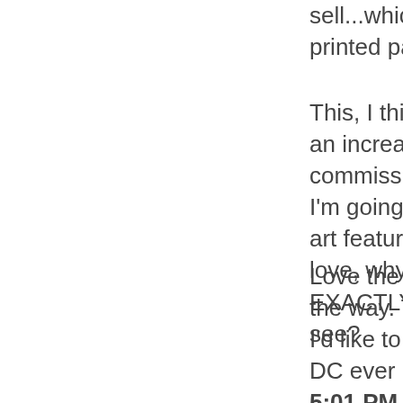sell...which leaves fewer printed pages for fans to buy.
This, I think, is coupled with an increase in fans commissioning original art. If I'm going to pay so much for art featuring the characters I love, why not make it EXACTLY what I want to see?
Love the Doom vs. JLA, by the way. That'd be something I'd like to see if Marvel and DC ever kiss and make up.
5:01 PM, August 29, 2009
David N----- said...
"Readers can get a John Byrne image of Dr. Doom